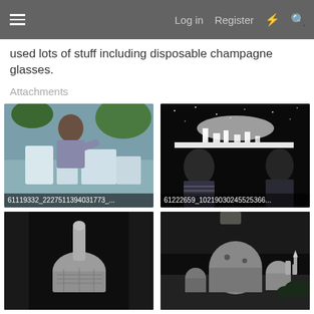Log in  Register
used lots of stuff including disposable champagne glasses.
Attachments
[Figure (photo): Man with mustache working on white model/set pieces outdoors, with label 61119332_22275113940317​73_...]
[Figure (photo): Two men examining a bright white glowing model/set in dark environment, with label 61222659_102190302455253​66...]
[Figure (photo): Close-up black and white photo of a rounded object, blurred background]
[Figure (photo): Black and white photo of model landscape/buildings with dome shapes]